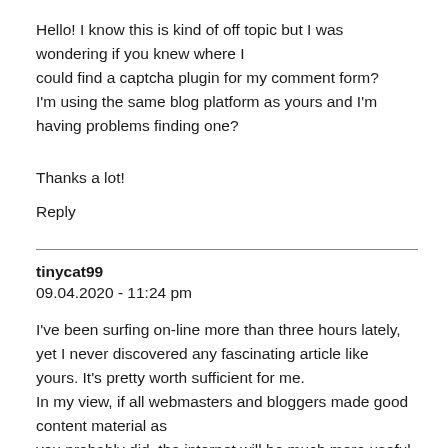Hello! I know this is kind of off topic but I was wondering if you knew where I could find a captcha plugin for my comment form? I'm using the same blog platform as yours and I'm having problems finding one?
Thanks a lot!
Reply
tinycat99
09.04.2020 - 11:24 pm
I've been surfing on-line more than three hours lately, yet I never discovered any fascinating article like yours. It's pretty worth sufficient for me. In my view, if all webmasters and bloggers made good content material as you probably did, the internet will be much more useful than ever before.